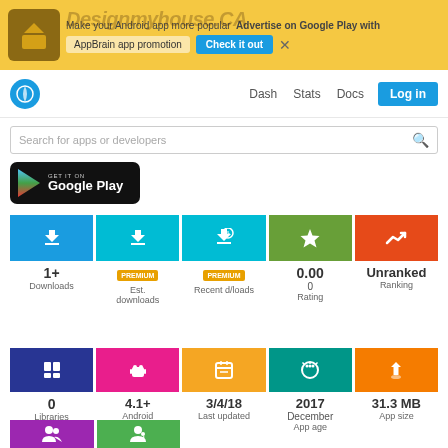[Figure (screenshot): Ad banner: Make your Android app more popular. Advertise on Google Play with AppBrain app promotion. Check it out button. Designmyhouse.CA watermark text visible.]
Dash  Stats  Docs  Log in
Search for apps or developers
[Figure (logo): GET IT ON Google Play badge]
| Downloads | Est. downloads | Recent d/loads | Rating | Ranking |
| --- | --- | --- | --- | --- |
| 1+ | PREMIUM | PREMIUM | 0.00
0 | Unranked |
| Libraries | Android version | Last updated | App age | App size |
| --- | --- | --- | --- | --- |
| 0 | 4.1+ | 3/4/18 | 2017 December | 31.3 MB |